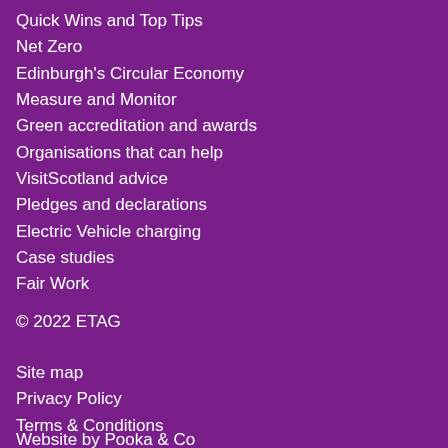Quick Wins and Top Tips
Net Zero
Edinburgh's Circular Economy
Measure and Monitor
Green accreditation and awards
Organisations that can help
VisitScotland advice
Pledges and declarations
Electric Vehicle charging
Case studies
Fair Work
© 2022 ETAG
Site map
Privacy Policy
Terms & Conditions
Website by Pooka & Co